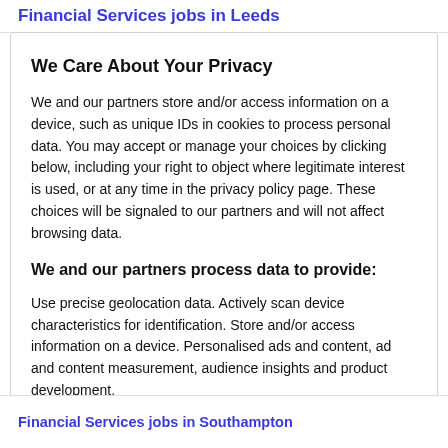Financial Services jobs in Leeds
We Care About Your Privacy
We and our partners store and/or access information on a device, such as unique IDs in cookies to process personal data. You may accept or manage your choices by clicking below, including your right to object where legitimate interest is used, or at any time in the privacy policy page. These choices will be signaled to our partners and will not affect browsing data.
We and our partners process data to provide:
Use precise geolocation data. Actively scan device characteristics for identification. Store and/or access information on a device. Personalised ads and content, ad and content measurement, audience insights and product development.
List of Partners (Vendors)
Financial Services jobs in Southampton